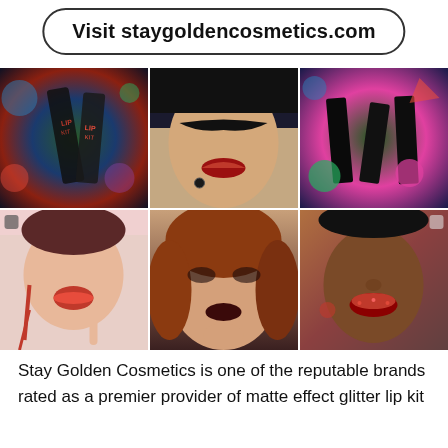Visit staygoldencosmetics.com
[Figure (photo): 3x2 grid of six cosmetics/makeup product and model photos showing Stay Golden Cosmetics lip kits and glitter makeup looks]
Stay Golden Cosmetics is one of the reputable brands rated as a premier provider of matte effect glitter lip kit